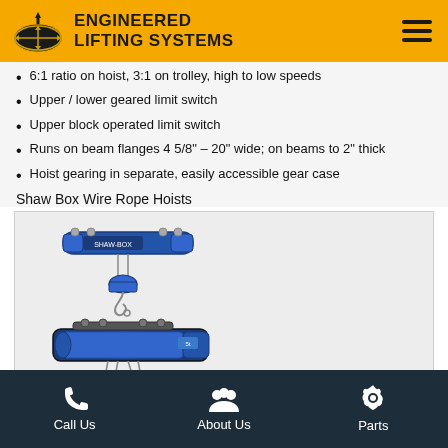ENGINEERED LIFTING SYSTEMS
6:1 ratio on hoist, 3:1 on trolley, high to low speeds
Upper / lower geared limit switch
Upper block operated limit switch
Runs on beam flanges 4 5/8" – 20" wide; on beams to 2" thick
Hoist gearing in separate, easily accessible gear case
Shaw Box Wire Rope Hoists
[Figure (photo): Blue Shaw Box wire rope hoist equipment shown in two configurations/sizes, suspended from trolley mechanisms with hooks.]
Call Us | About Us | Parts